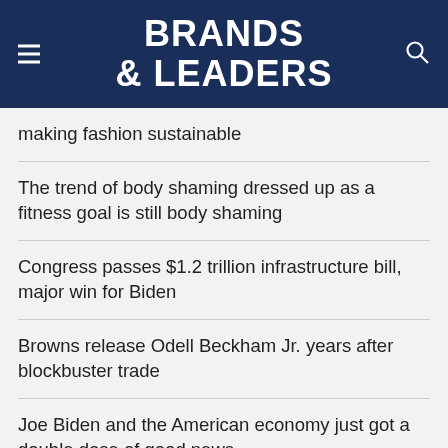BRANDS & LEADERS
making fashion sustainable
The trend of body shaming dressed up as a fitness goal is still body shaming
Congress passes $1.2 trillion infrastructure bill, major win for Biden
Browns release Odell Beckham Jr. years after blockbuster trade
Joe Biden and the American economy just got a double dose of good news
Follow Us